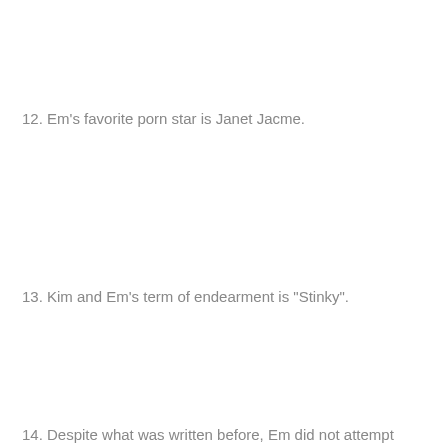12. Em's favorite porn star is Janet Jacme.
13. Kim and Em's term of endearment is "Stinky".
14. Despite what was written before, Em did not attempt